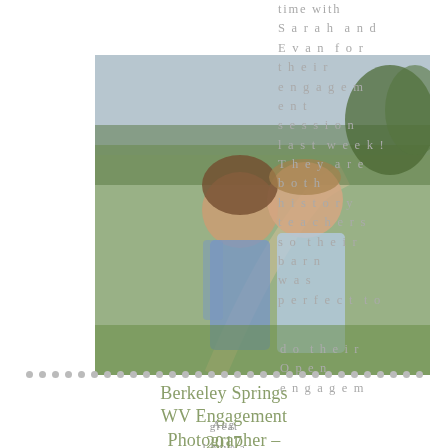[Figure (photo): A couple in an outdoor field setting, the woman in a blue skirt leans into the man who is wearing a light blue shirt. Green meadow and trees in background.]
time with Sarah and Evan for their engagement session last week! They are both history teachers so their barn was perfect to do their Open engagement
Berkeley Springs WV Engagement Photographer – Hilary & Aaron 2017
Aug I have a great time in Harper's Ferry